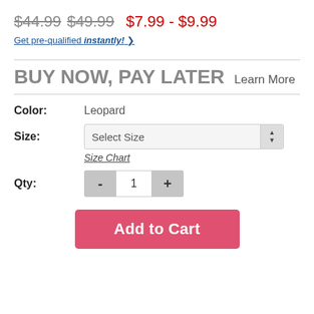$44.99  $49.99  $7.99 - $9.99
Get pre-qualified instantly! ❯
BUY NOW, PAY LATER  Learn More
Color: Leopard
Size: Select Size
Size Chart
Qty: 1
Add to Cart